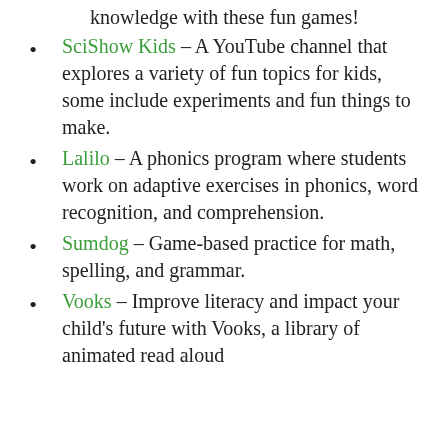knowledge with these fun games!
SciShow Kids – A YouTube channel that explores a variety of fun topics for kids, some include experiments and fun things to make.
Lalilo – A phonics program where students work on adaptive exercises in phonics, word recognition, and comprehension.
Sumdog – Game-based practice for math, spelling, and grammar.
Vooks – Improve literacy and impact your child's future with Vooks, a library of animated read aloud